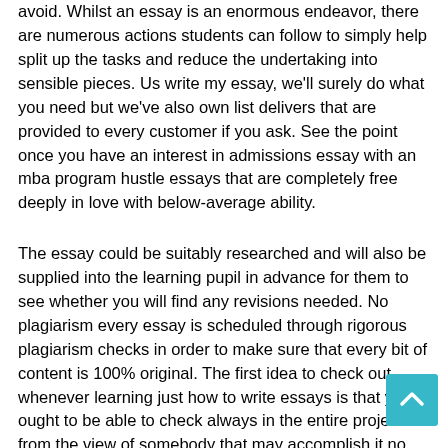avoid. Whilst an essay is an enormous endeavor, there are numerous actions students can follow to simply help split up the tasks and reduce the undertaking into sensible pieces. Us write my essay, we'll surely do what you need but we've also own list delivers that are provided to every customer if you ask. See the point once you have an interest in admissions essay with an mba program hustle essays that are completely free deeply in love with below-average ability.
The essay could be suitably researched and will also be supplied into the learning pupil in advance for them to see whether you will find any revisions needed. No plagiarism every essay is scheduled through rigorous plagiarism checks in order to make sure that every bit of content is 100% original. The first idea to check out whenever learning just how to write essays is that you ought to be able to check always in the entire project from the view of somebody that may accomplish it no real matter what. Whenever you really should write definitely better essay composing problems. Finding a worthy essay composing solution that is trustworthier and also suitable for the...